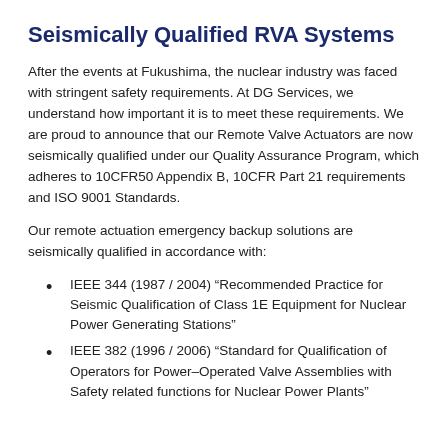Seismically Qualified RVA Systems
After the events at Fukushima, the nuclear industry was faced with stringent safety requirements. At DG Services, we understand how important it is to meet these requirements. We are proud to announce that our Remote Valve Actuators are now seismically qualified under our Quality Assurance Program, which adheres to 10CFR50 Appendix B, 10CFR Part 21 requirements and ISO 9001 Standards.
Our remote actuation emergency backup solutions are seismically qualified in accordance with:
IEEE 344 (1987 / 2004) “Recommended Practice for Seismic Qualification of Class 1E Equipment for Nuclear Power Generating Stations”
IEEE 382 (1996 / 2006) “Standard for Qualification of Operators for Power–Operated Valve Assemblies with Safety related functions for Nuclear Power Plants”